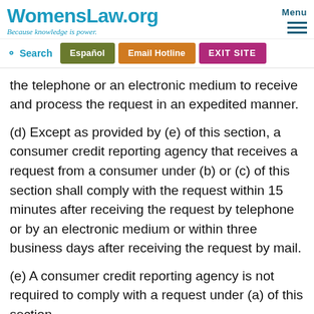WomensLaw.org — Because knowledge is power. | Menu
Search | Español | Email Hotline | EXIT SITE
the telephone or an electronic medium to receive and process the request in an expedited manner.
(d) Except as provided by (e) of this section, a consumer credit reporting agency that receives a request from a consumer under (b) or (c) of this section shall comply with the request within 15 minutes after receiving the request by telephone or by an electronic medium or within three business days after receiving the request by mail.
(e) A consumer credit reporting agency is not required to comply with a request under (a) of this section within the 15 and...